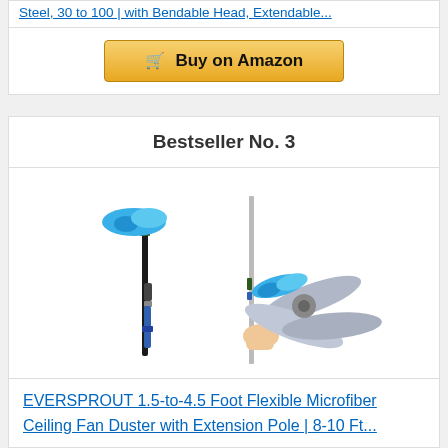Steel, 30 to 100 | with Bendable Head, Extendable...
[Figure (other): Buy on Amazon button with shopping cart icon]
Bestseller No. 3
[Figure (photo): EVERSPROUT flexible microfiber ceiling fan duster with extension pole shown standalone and in use cleaning a ceiling fan]
EVERSPROUT 1.5-to-4.5 Foot Flexible Microfiber Ceiling Fan Duster with Extension Pole | 8-10 Ft...
[Figure (other): Buy on Amazon button with shopping cart icon]